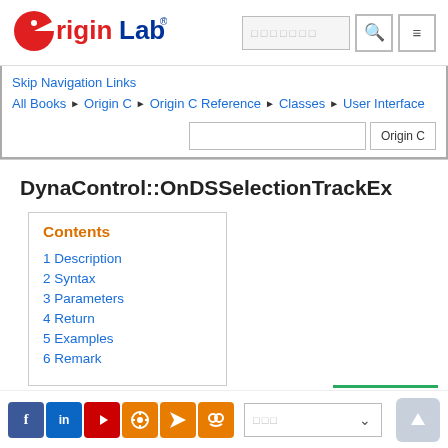[Figure (logo): OriginLab logo - red circle with 'Origin' in red and 'Lab' in blue with registered trademark symbol]
Skip Navigation Links
All Books ▶ Origin C ▶ Origin C Reference ▶ Classes ▶ User Interface
DynaControl::OnDSSelectionTrackEx
Contents
1 Description
2 Syntax
3 Parameters
4 Return
5 Examples
6 Remark
Social icons: Facebook, LinkedIn, YouTube, Settings, RSS, Groups | Language selector | Scroll to top